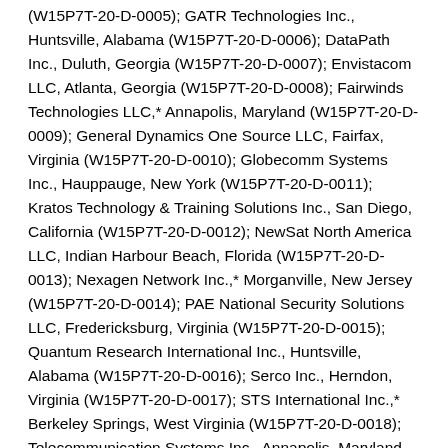(W15P7T-20-D-0005); GATR Technologies Inc., Huntsville, Alabama (W15P7T-20-D-0006); DataPath Inc., Duluth, Georgia (W15P7T-20-D-0007); Envistacom LLC, Atlanta, Georgia (W15P7T-20-D-0008); Fairwinds Technologies LLC,* Annapolis, Maryland (W15P7T-20-D-0009); General Dynamics One Source LLC, Fairfax, Virginia (W15P7T-20-D-0010); Globecomm Systems Inc., Hauppauge, New York (W15P7T-20-D-0011); Kratos Technology & Training Solutions Inc., San Diego, California (W15P7T-20-D-0012); NewSat North America LLC, Indian Harbour Beach, Florida (W15P7T-20-D-0013); Nexagen Network Inc.,* Morganville, New Jersey (W15P7T-20-D-0014); PAE National Security Solutions LLC, Fredericksburg, Virginia (W15P7T-20-D-0015); Quantum Research International Inc., Huntsville, Alabama (W15P7T-20-D-0016); Serco Inc., Herndon, Virginia (W15P7T-20-D-0017); STS International Inc.,* Berkeley Springs, West Virginia (W15P7T-20-D-0018); Telecommunication Systems Inc., Annapolis, Maryland (W15P7T-20-D-0019); TMC Design Corp.,* Las Cruces, New Mexico (W15P7T-20-D-0020); Trace Systems Inc.,* Vienna, Virginia (W15P7T-20-D-0021); Tribalco LLC, Bethesda, Maryland (W15P7T-20-D-0022); and Ultisat Inc.,